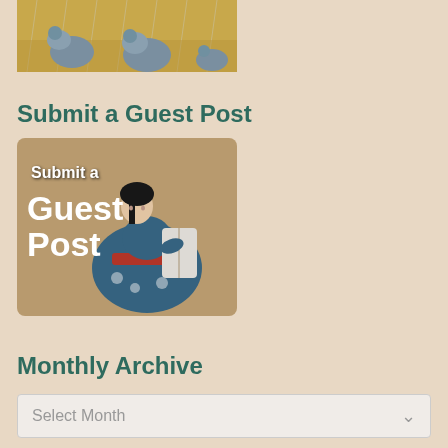[Figure (photo): Partial view of quail birds in rain with golden grassy background, cropped from top]
Submit a Guest Post
[Figure (illustration): Button/banner image showing a Japanese-style painting of a woman in kimono reading a scroll, with text 'Submit a Guest Post' overlaid in white and teal]
Monthly Archive
Select Month